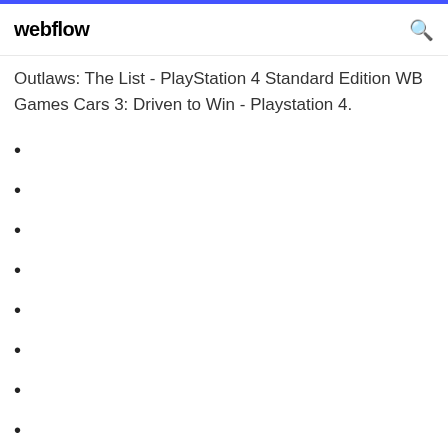webflow
Outlaws: The List - PlayStation 4 Standard Edition WB Games Cars 3: Driven to Win - Playstation 4.